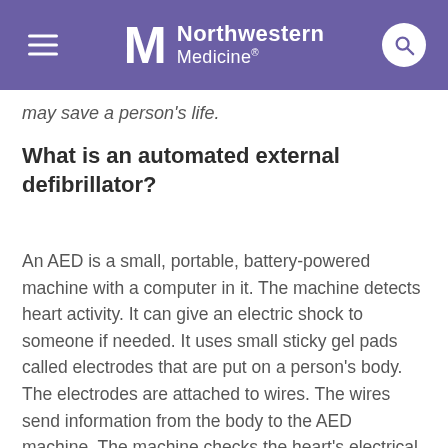Northwestern Medicine
may save a person's life.
What is an automated external defibrillator?
An AED is a small, portable, battery-powered machine with a computer in it. The machine detects heart activity. It can give an electric shock to someone if needed. It uses small sticky gel pads called electrodes that are put on a person's body. The electrodes are attached to wires. The wires send information from the body to the AED machine. The machine checks the heart's electrical system. If certain kinds of abnormal heart rhythms (arrhythmias) are found, the machine can give the person an electric shock. This shock can reset the heart's electrical activity